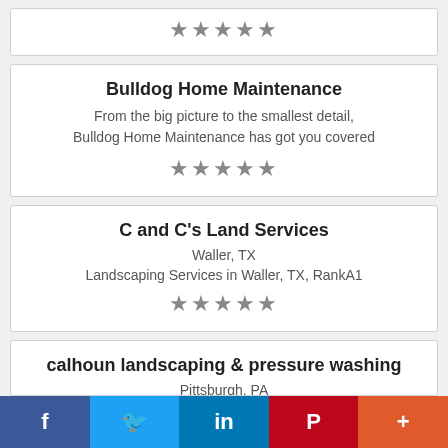[Figure (other): Star rating row (5 grey stars) for a partially visible card at top]
Bulldog Home Maintenance
From the big picture to the smallest detail, Bulldog Home Maintenance has got you covered
[Figure (other): Star rating row (5 grey stars) for Bulldog Home Maintenance]
C and C's Land Services
Waller, TX
Landscaping Services in Waller, TX, RankA1
[Figure (other): Star rating row (5 grey stars) for C and C's Land Services]
calhoun landscaping & pressure washing
Pittsburgh, PA
landscaping
[Figure (infographic): Social media share bar with Facebook, Twitter, LinkedIn, Pinterest, and More buttons]